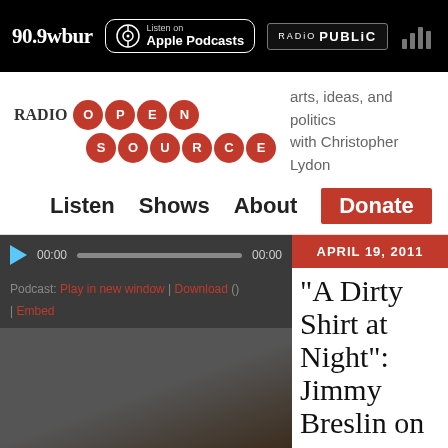90.9wbur | Listen on Apple Podcasts | RADIO PUBLIC
[Figure (logo): Radio Open Source logo with red circle letters spelling OPENSOURCE and tagline 'arts, ideas, and politics with Christopher Lydon']
Listen  Shows  About  Donate
[Figure (screenshot): Audio player with play button, time 00:00 / 00:00, podcast links: Play in new window | Download () | Embed, with a dark background image]
“A Dirty Shirt at Night”: Jimmy Breslin on
APRIL 19, 2011